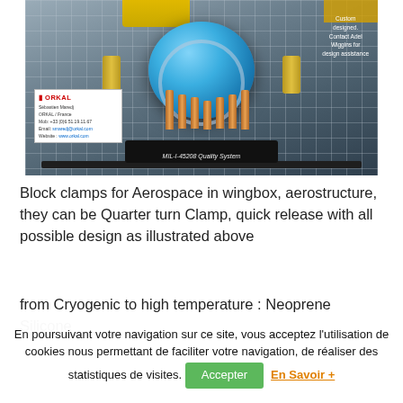[Figure (photo): Photo of custom aerospace block clamps / connector with blue circular component, copper tubes, yellow robot arm, black base, on a grid background. ORKAL business card visible bottom-left. Text overlays: 'Custom designed. Contact Adel Wiggins for design assistance' and 'MIL-I-45208 Quality System'.]
Block clamps for Aerospace in wingbox, aerostructure, they can be Quarter turn Clamp, quick release with all possible design as illustrated above
from Cryogenic to high temperature : Neoprene Silicone
En poursuivant votre navigation sur ce site, vous acceptez l'utilisation de cookies nous permettant de faciliter votre navigation, de réaliser des statistiques de visites.
Accepter
En Savoir +